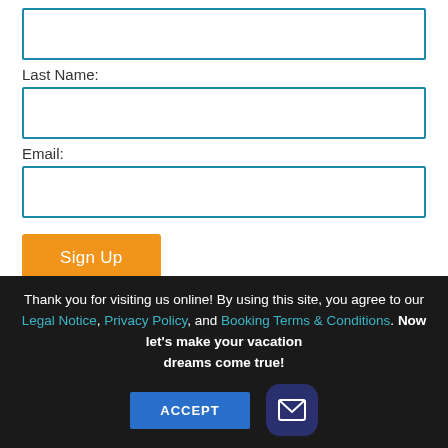[Figure (other): Input field box (form element) at top, empty text input with teal/blue border]
Last Name:
[Figure (other): Input field box for Last Name, empty text input with teal/blue border]
Email:
[Figure (other): Input field box for Email, empty text input with teal/blue border]
Sign Up
BOOK WITH US
Thank you for visiting us online! By using this site, you agree to our Legal Notice, Privacy Policy, and Booking Terms & Conditions. Now let's make your vacation dreams come true!
ACCEPT